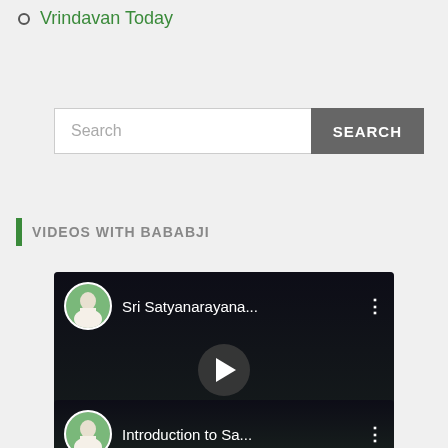Vrindavan Today
Search
VIDEOS WITH BABABJI
[Figure (screenshot): YouTube-style video thumbnail showing 'Sri Satyanarayana...' with a circular avatar of a man in white, a play button in the center, and a three-dot menu icon]
[Figure (screenshot): YouTube-style video thumbnail showing 'Introduction to Sa...' with a circular avatar of a man in white and a three-dot menu icon, partially visible]